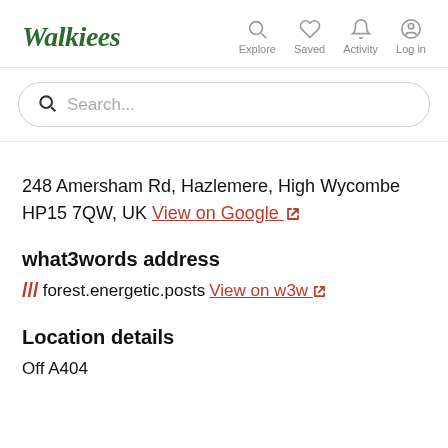Walkiees — navigation: Explore, Saved, Activity, Log in
Search...
248 Amersham Rd, Hazlemere, High Wycombe HP15 7QW, UK View on Google
what3words address
/// forest.energetic.posts View on w3w
Location details
Off A404